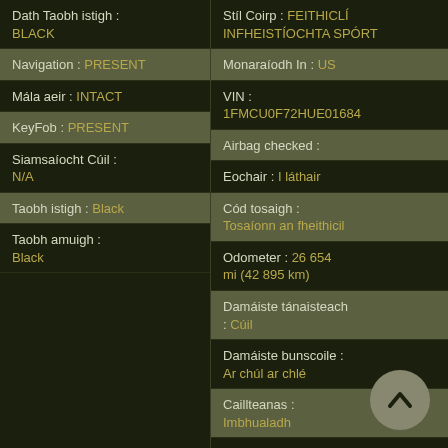Dath Taobh istigh : BLACK
Navigation : PRESENT
Mála aeir : INTACT
KeyFob : PRESENT
Siamsaíocht Cúil : N/A
Taobh istigh : Black
Taobh amuigh : Black
Stíl Coirp : FEITHICLÍ INFHEISTÍOCHTA SPÓRT
Monaraíodh In : US
VIN : 1FMCU0F72HUE01684
Airbag checked :
Eochair : I láthair
Cód tosaigh : Tosaíonn an fheithicil
Odometer : 26 654 mi (42 895 km)
Damáiste tánaisteach : Cúil
Damáiste bunscoile : Ar chúl ar chlé
Caillteanas : Imbhualadh